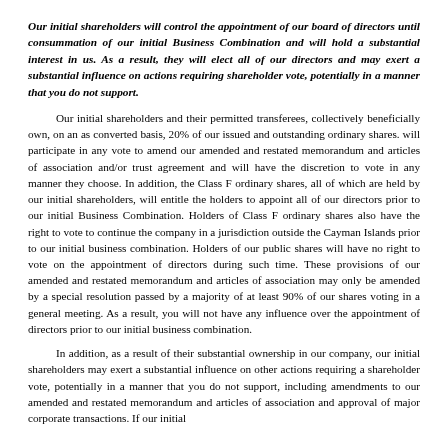Our initial shareholders will control the appointment of our board of directors until consummation of our initial Business Combination and will hold a substantial interest in us. As a result, they will elect all of our directors and may exert a substantial influence on actions requiring shareholder vote, potentially in a manner that you do not support.
Our initial shareholders and their permitted transferees, collectively beneficially own, on an as converted basis, 20% of our issued and outstanding ordinary shares. will participate in any vote to amend our amended and restated memorandum and articles of association and/or trust agreement and will have the discretion to vote in any manner they choose. In addition, the Class F ordinary shares, all of which are held by our initial shareholders, will entitle the holders to appoint all of our directors prior to our initial Business Combination. Holders of Class F ordinary shares also have the right to vote to continue the company in a jurisdiction outside the Cayman Islands prior to our initial business combination. Holders of our public shares will have no right to vote on the appointment of directors during such time. These provisions of our amended and restated memorandum and articles of association may only be amended by a special resolution passed by a majority of at least 90% of our shares voting in a general meeting. As a result, you will not have any influence over the appointment of directors prior to our initial business combination.
In addition, as a result of their substantial ownership in our company, our initial shareholders may exert a substantial influence on other actions requiring a shareholder vote, potentially in a manner that you do not support, including amendments to our amended and restated memorandum and articles of association and approval of major corporate transactions. If our initial